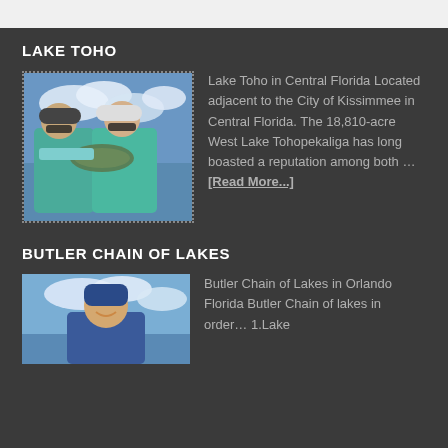LAKE TOHO
[Figure (photo): Two people holding a large bass fish outdoors with blue sky and clouds in background]
Lake Toho in Central Florida Located adjacent to the City of Kissimmee in Central Florida. The 18,810-acre West Lake Tohopekaliga has long boasted a reputation among both … [Read More...]
BUTLER CHAIN OF LAKES
[Figure (photo): Person smiling outdoors near water with blue sky and clouds]
Butler Chain of Lakes in Orlando Florida Butler Chain of lakes in order… 1.Lake